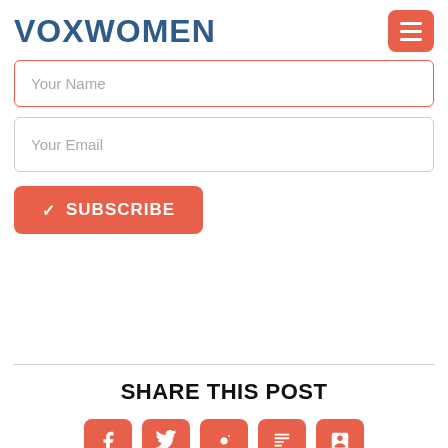VOXWOMEN
[Figure (screenshot): Form with Your Name input field (red border), Your Email input field, and a coral/red Subscribe button with checkmark icon]
SHARE THIS POST
[Figure (infographic): Row of five coral/red rounded square social media share buttons partially visible at bottom of page]